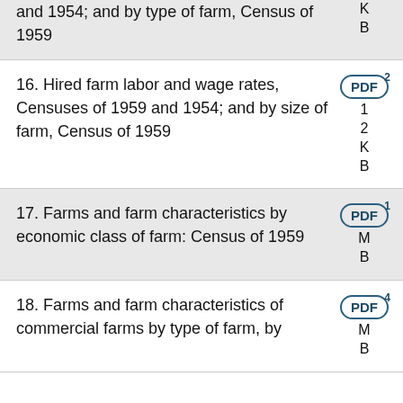and 1954; and by type of farm, Census of 1959
16. Hired farm labor and wage rates, Censuses of 1959 and 1954; and by size of farm, Census of 1959
17. Farms and farm characteristics by economic class of farm: Census of 1959
18. Farms and farm characteristics of commercial farms by type of farm, by